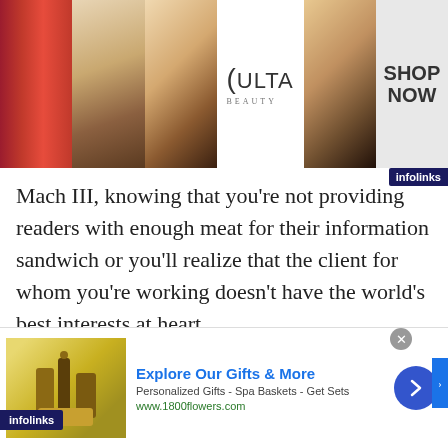[Figure (photo): Top advertisement banner for ULTA Beauty showing makeup images (lips, brush, eye), ULTA logo, eye close-up, and SHOP NOW text]
Mach III, knowing that you’re not providing readers with enough meat for their information sandwich or you’ll realize that the client for whom you’re working doesn’t have the world’s best interests at heart.
Rationalization, Blissful Ignorance or Discomfort?  Choose.
Three Bags of Gold isn’t funny when it’s real.
[Figure (screenshot): Infolinks advertisement badge bottom left]
[Figure (screenshot): Bottom advertisement for 1800flowers.com: Explore Our Gifts & More - Personalized Gifts - Spa Baskets - Get Sets - www.1800flowers.com]